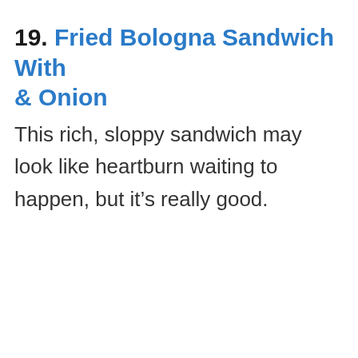19. Fried Bologna Sandwich With & Onion
This rich, sloppy sandwich may look like heartburn waiting to happen, but it’s really good.